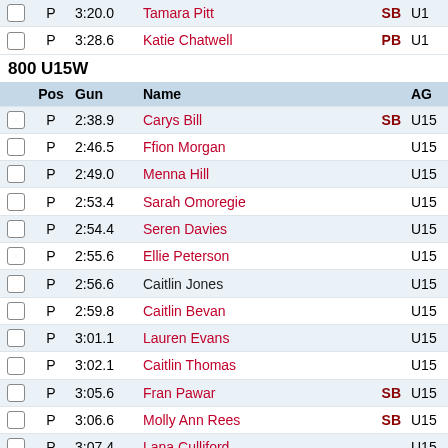|  | Pos | Gun | Name |  | AG |
| --- | --- | --- | --- | --- | --- |
|  | P | 3:20.0 | Tamara Pitt | SB | U17 |
|  | P | 3:28.6 | Katie Chatwell | PB | U17 |
800 U15W
|  | Pos | Gun | Name |  | AG |
| --- | --- | --- | --- | --- | --- |
|  | P | 2:38.9 | Carys Bill | SB | U15 |
|  | P | 2:46.5 | Ffion Morgan |  | U15 |
|  | P | 2:49.0 | Menna Hill |  | U15 |
|  | P | 2:53.4 | Sarah Omoregie |  | U15 |
|  | P | 2:54.4 | Seren Davies |  | U15 |
|  | P | 2:55.6 | Ellie Peterson |  | U15 |
|  | P | 2:56.6 | Caitlin Jones |  | U15 |
|  | P | 2:59.8 | Caitlin Bevan |  | U15 |
|  | P | 3:01.1 | Lauren Evans |  | U15 |
|  | P | 3:02.1 | Caitlin Thomas |  | U15 |
|  | P | 3:05.6 | Fran Pawar | SB | U15 |
|  | P | 3:06.6 | Molly Ann Rees | SB | U15 |
|  | P | 3:07.4 | Lana Culliford |  | U15 |
|  | P | 3:07.5 | Georgia Cape | PB | U15 |
|  | P | 3:08.9 | Catrin Lord | SB | U15 |
|  | P | 3:11.3 | Jasmine Wallace | SB | U15 |